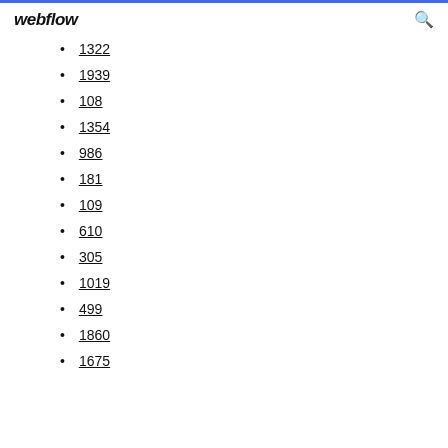webflow
1322
1939
108
1354
986
181
109
610
305
1019
499
1860
1675